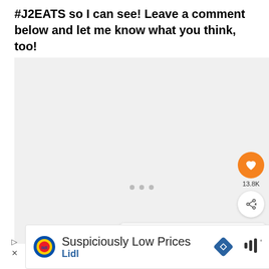#J2EATS so I can see! Leave a comment below and let me know what you think, too!
[Figure (photo): Embedded video/image placeholder with dots carousel indicator, orange heart/like button showing 13.8K likes, and share button]
WHAT'S NEXT → TikTok Recipes
[Figure (screenshot): Lidl advertisement banner: 'Suspiciously Low Prices / Lidl' with Lidl logo and navigation arrow icon]